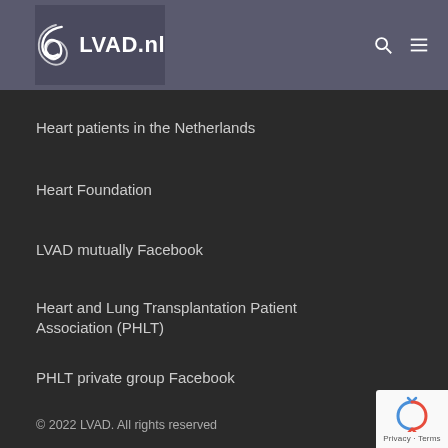[Figure (logo): LVAD.nl website header with spiral logo icon and LVAD.nl text, search and menu icons on the right, on a grey-blue background]
Heart patients in the Netherlands
Heart Foundation
LVAD mutually Facebook
Heart and Lung Transplantation Patient Association (PHLT)
PHLT private group Facebook
© 2022 LVAD. All rights reserved